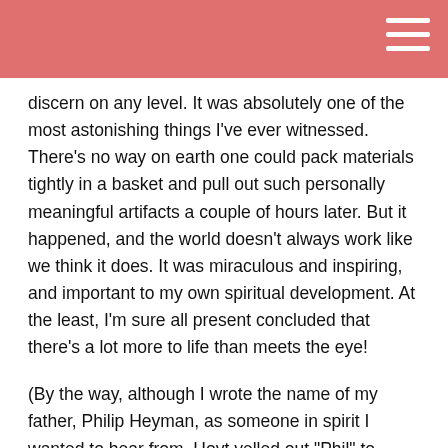discern on any level. It was absolutely one of the most astonishing things I’ve ever witnessed. There’s no way on earth one could pack materials tightly in a basket and pull out such personally meaningful artifacts a couple of hours later. But it happened, and the world doesn’t always work like we think it does. It was miraculous and inspiring, and important to my own spiritual development. At the least, I’m sure all present concluded that there’s a lot more to life than meets the eye!
(By the way, although I wrote the name of my father, Philip Heyman, as someone in spirit I wanted to hear from, Hoyt yelled out “Phil” to identify it was my turn. This is what my Dad called himself. Much more incredibly, Hoyt then called out the unusual name of “Keetowah”, a legendary Cherokee medicine man who lived in Santa Rosa, California, and taught me a lot about magic and crystals.)
I hope you all are out and about enjoying the Summer, if